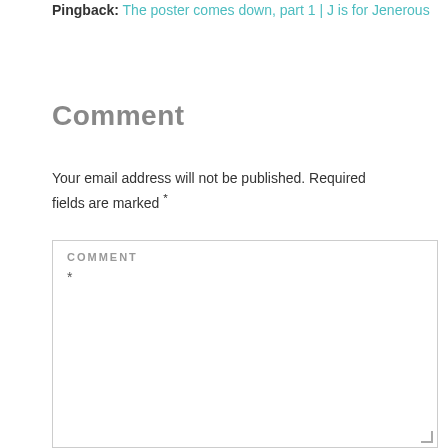Pingback: The poster comes down, part 1 | J is for Jenerous
Comment
Your email address will not be published. Required fields are marked *
COMMENT *